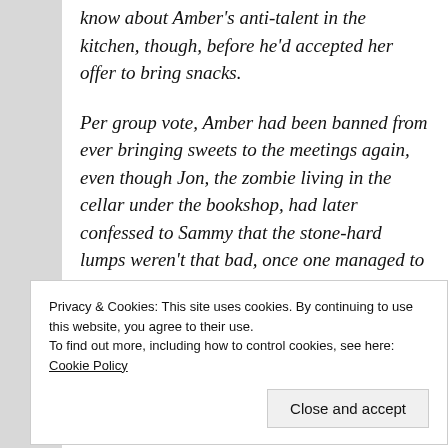know about Amber's anti-talent in the kitchen, though, before he'd accepted her offer to bring snacks.
Per group vote, Amber had been banned from ever bringing sweets to the meetings again, even though Jon, the zombie living in the cellar under the bookshop, had later confessed to Sammy that the stone-hard lumps weren't that bad, once one managed to get through the crust—the burnt, black crust that may or may not once have been sugar. Sammy
Privacy & Cookies: This site uses cookies. By continuing to use this website, you agree to their use.
To find out more, including how to control cookies, see here: Cookie Policy
pastries. Declan and Troy, the two werewolf